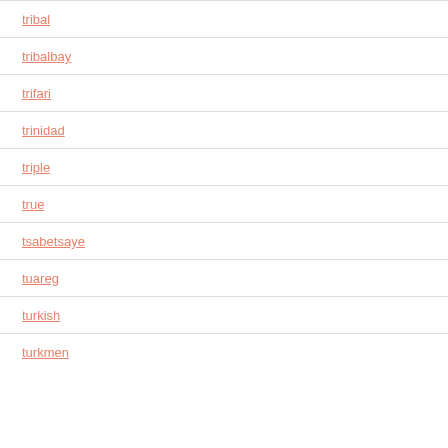tribal
tribalbay
trifari
trinidad
triple
true
tsabetsaye
tuareg
turkish
turkmen